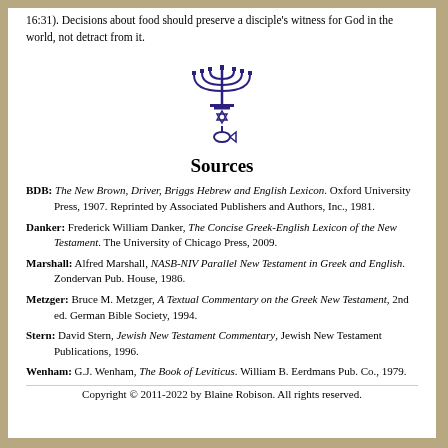16:31). Decisions about food should preserve a disciple's witness for God in the world, not detract from it.
[Figure (illustration): Menorah with Star of David and fish symbol combined into a vertical decorative religious emblem in dark blue/purple]
Sources
BDB: The New Brown, Driver, Briggs Hebrew and English Lexicon. Oxford University Press, 1907. Reprinted by Associated Publishers and Authors, Inc., 1981.
Danker: Frederick William Danker, The Concise Greek-English Lexicon of the New Testament. The University of Chicago Press, 2009.
Marshall: Alfred Marshall, NASB-NIV Parallel New Testament in Greek and English. Zondervan Pub. House, 1986.
Metzger: Bruce M. Metzger, A Textual Commentary on the Greek New Testament, 2nd ed. German Bible Society, 1994.
Stern: David Stern, Jewish New Testament Commentary, Jewish New Testament Publications, 1996.
Wenham: G.J. Wenham, The Book of Leviticus. William B. Eerdmans Pub. Co., 1979.
Copyright © 2011-2022 by Blaine Robison. All rights reserved.